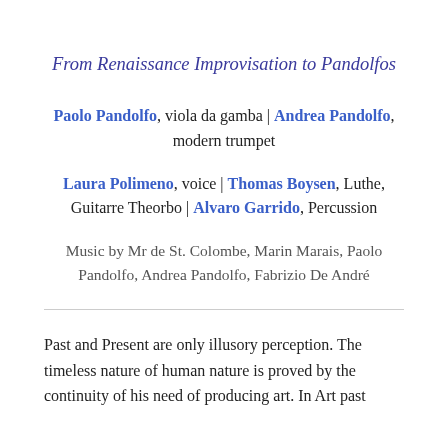From Renaissance Improvisation to Pandolfos
Paolo Pandolfo, viola da gamba | Andrea Pandolfo, modern trumpet
Laura Polimeno, voice | Thomas Boysen, Luthe, Guitarre Theorbo | Alvaro Garrido, Percussion
Music by Mr de St. Colombe, Marin Marais, Paolo Pandolfo, Andrea Pandolfo, Fabrizio De André
Past and Present are only illusory perception. The timeless nature of human nature is proved by the continuity of his need of producing art. In Art past